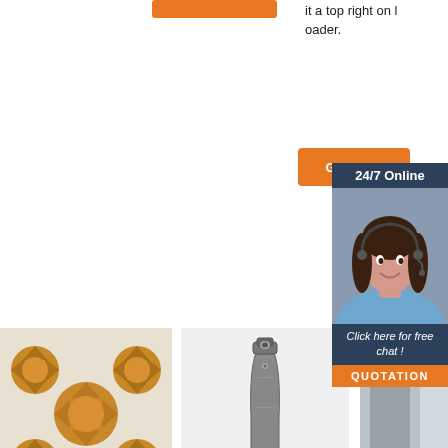it a top right on loader.
[Figure (screenshot): Orange 'Get Price' button]
[Figure (infographic): 24/7 Online chat panel with agent photo, 'Click here for free chat!' text and QUOTATION button]
[Figure (photo): Golden drill bits / PDC drill bit tools cluster]
[Figure (photo): Single grey metal bucket tooth / excavator tooth part on white background]
[Figure (photo): Partial product image (third column, cut off)]
Hummer EV Pickup Truck: Off-Road Hardware And
Specs Apple IPhone 6 Plus 14 Cm (5.5') Single SIM IOS
35 Hummer H2 Parts Diagram Wiring Diagram